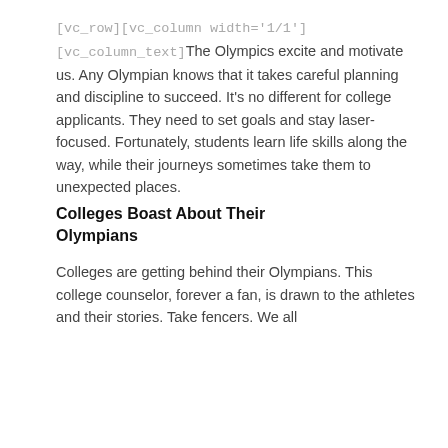[vc_row][vc_column width='1/1'][vc_column_text]The Olympics excite and motivate us. Any Olympian knows that it takes careful planning and discipline to succeed. It's no different for college applicants. They need to set goals and stay laser-focused. Fortunately, students learn life skills along the way, while their journeys sometimes take them to unexpected places.
Colleges Boast About Their Olympians
Colleges are getting behind their Olympians. This college counselor, forever a fan, is drawn to the athletes and their stories. Take fencers. We all